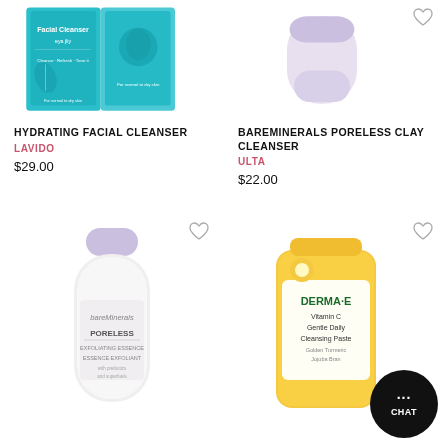[Figure (photo): Hydrating Facial Cleanser product image by Lavido — two teal/cyan colored packets]
HYDRATING FACIAL CLEANSER
LAVIDO
$29.00
[Figure (photo): bareMinerals Poreless Clay Cleanser product image — white/lavender tube]
BAREMINERALS PORELESS CLAY CLEANSER
ULTA
$22.00
[Figure (photo): bareMinerals Poreless Exfoliating Essence Exfoliant bottle with lavender cap]
[Figure (photo): DERMA-E Vitamin C Gentle Daily Cleansing Paste tube in yellow/white packaging]